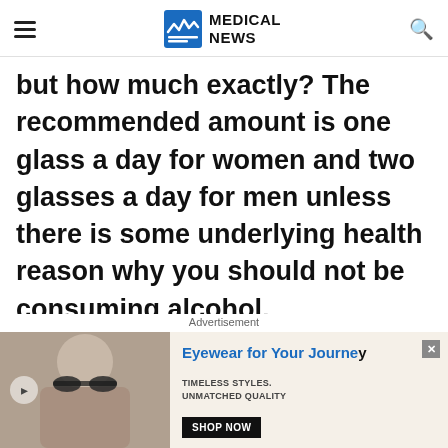MEDICAL NEWS
but how much exactly? The recommended amount is one glass a day for women and two glasses a day for men unless there is some underlying health reason why you should not be consuming alcohol.

Other beverages that are safe to have while on the Mediterranean diet are
Advertisement
[Figure (photo): Advertisement banner showing a man wearing sunglasses with text 'Eyewear for Your Journey. Timeless styles. Unmatched quality. Shop Now.']